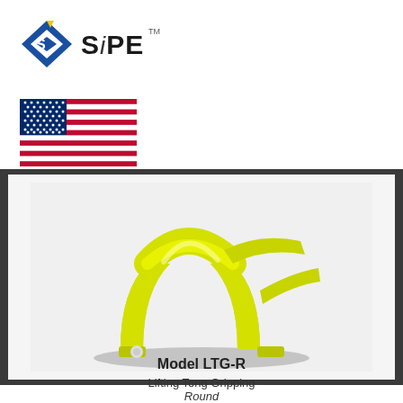[Figure (logo): SIPE company logo with blue diamond shape and bold text 'SiPE' with trademark symbol]
[Figure (illustration): US flag illustration]
[Figure (photo): Yellow lifting tong gripping device (Model LTG-R) shown in 3D render on light background, with dark grey border strip]
Model LTG-R
Lifting Tong Gripping
Round